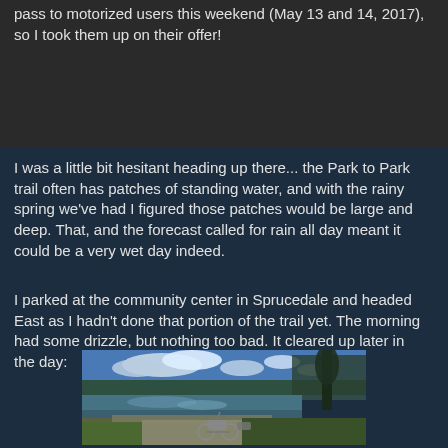pass to motorized users this weekend (May 13 and 14, 2017), so I took them up on their offer!
I was a little bit hesitant heading up there... the Park to Park trail often has patches of standing water, and with the rainy spring we've had I figured those patches would be large and deep. That, and the forecast called for rain all day meant it could be a very wet day indeed.
I parked at the community center in Sprucedale and headed East as I hadn't done that portion of the trail yet. The morning had some drizzle, but nothing too bad. It cleared up later in the day:
[Figure (photo): A motorcycle parked on a dirt trail beside a calm lake reflecting clouds and blue sky, surrounded by forest of evergreen and bare trees on a cleared spring day.]